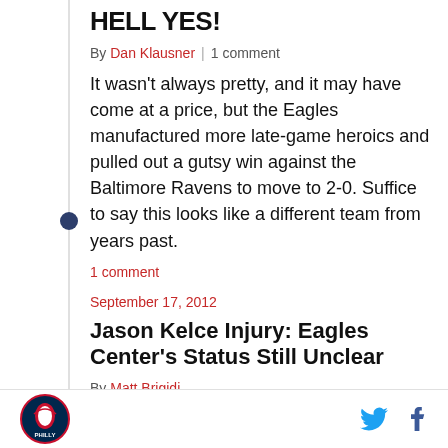HELL YES!
By Dan Klausner | 1 comment
It wasn't always pretty, and it may have come at a price, but the Eagles manufactured more late-game heroics and pulled out a gutsy win against the Baltimore Ravens to move to 2-0. Suffice to say this looks like a different team from years past.
1 comment
September 17, 2012
Jason Kelce Injury: Eagles Center's Status Still Unclear
By Matt Brigidi
Philadelphia Eagles center Jason Kelce may be
Bleeding Green Nation logo | Twitter | Facebook